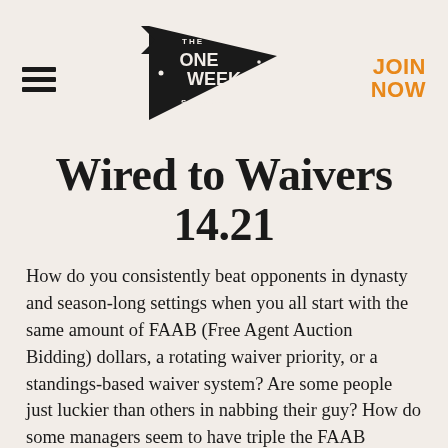[Figure (logo): The One Week Season pennant logo with hamburger menu on left and JOIN NOW in orange on right]
Wired to Waivers 14.21
How do you consistently beat opponents in dynasty and season-long settings when you all start with the same amount of FAAB (Free Agent Auction Bidding) dollars, a rotating waiver priority, or a standings-based waiver system? Are some people just luckier than others in nabbing their guy? How do some managers seem to have triple the FAAB budget? If